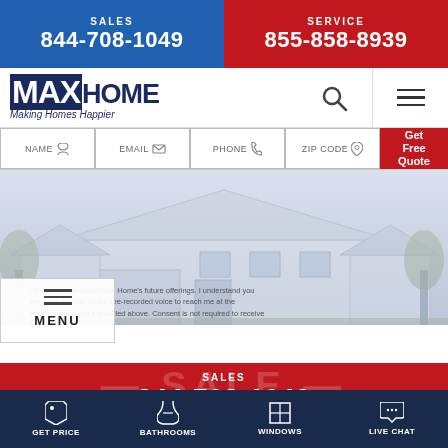SALES 844-708-1049 | SERVICE 855-858-8939
[Figure (screenshot): MaxHome logo with tagline 'Making Homes Happier', search icon, and hamburger menu]
NAME | EMAIL | PHONE | ZIP CODE
Get Free Quote
[Figure (photo): Faded hero photo of a suburban house]
MENU
I'd like to learn about Max Home's future offerings. I understand you may use an auto-dialer, pre-recorded voice to reach me at the telephone number I provided above. Consent is not required to receive our products.
SALES 844-708-1049
**1YNB*Money Down, No Payments, 0% Interest for 18 Months**
SERVICE 855-858-8939
GET PRICE | BATHROOMS | WINDOWS | LIVE CHAT